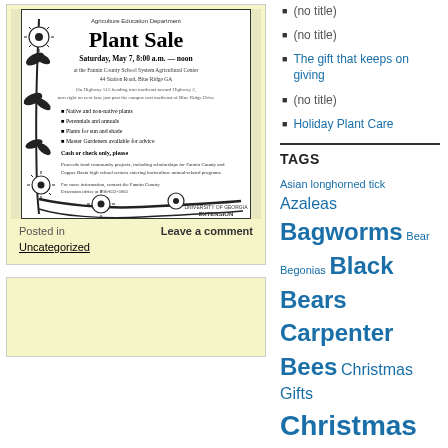[Figure (illustration): Plant Sale flyer/poster with floral botanical border. Text reads: Agriculture Education Department, Plant Sale, Saturday, May 7, 8:00 a.m. – noon, at the Fannin County School System Agricultural Center, 44 Station Road, Blue Ridge GA. On Highway 515 heading into northeast toward Highway 2, turn right on next lane just past the campus east northeast of Blue Ridge Drive. Items: Native and non-native plants, Perennials and annuals, Plants for sun and shade, Master Gardeners available for advice. Cash or check only, please. Proceeds fund community projects including scholarships for Fannin County and Copper Basin high school seniors entering horticulture animal-related programs. For more information, contact the Fannin County Extension office at 706-632-3061. University of Georgia Extension logo.]
Posted in
Leave a comment
Uncategorized
(no title)
(no title)
The gift that keeps on giving
(no title)
Holiday Plant Care
TAGS
Asian longhorned tick Azaleas Bagworms Bear Begonias Black Bears Carpenter Bees Christmas Gifts Christmas Tree Cicadas Crape Myrtle Door Fall